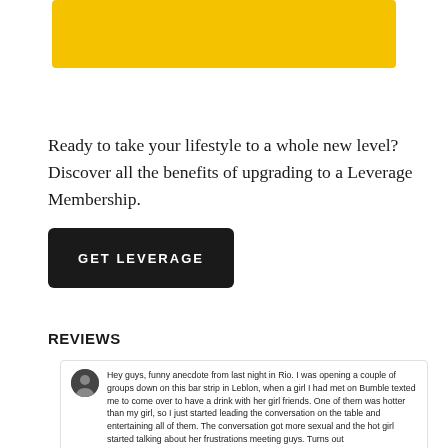[Figure (illustration): Yellow/gold rectangular banner at top of page]
Ready to take your lifestyle to a whole new level? Discover all the benefits of upgrading to a Leverage Membership.
[Figure (other): Dark button with text GET LEVERAGE]
REVIEWS
Hey guys, funny anecdote from last night in Rio. I was opening a couple of groups down on this bar strip in Leblon, when a girl I had met on Bumble texted me to come over to have a drink with her girl friends. One of them was hotter than my girl, so I just started leading the conversation on the table and entertaining all of them. The conversation got more sexual and the hot girl started talking about her frustrations meeting guys. Turns out